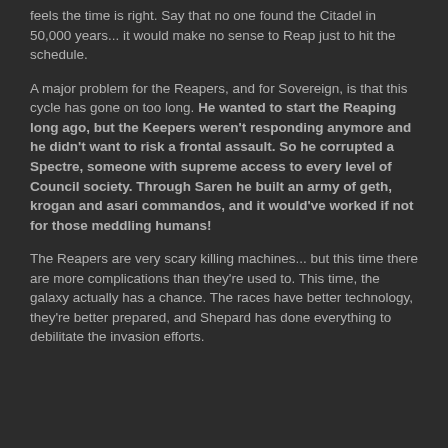feels the time is right. Say that no one found the Citadel in 50,000 years... it would make no sense to Reap just to hit the schedule.
A major problem for the Reapers, and for Sovereign, is that this cycle has gone on too long. He wanted to start the Reaping long ago, but the Keepers weren't responding anymore and he didn't want to risk a frontal assault. So he corrupted a Spectre, someone with supreme access to every level of Council society. Through Saren he built an army of geth, krogan and asari commandos, and it would've worked if not for those meddling humans!
The Reapers are very scary killing machines... but this time there are more complications than they're used to. This time, the galaxy actually has a chance. The races have better technology, they're better prepared, and Shepard has done everything to debilitate the invasion efforts.